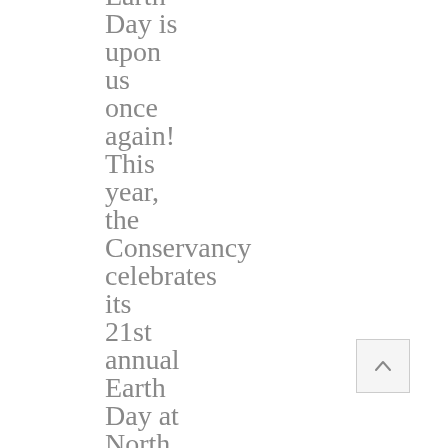Earth Day is upon us once again! This year, the Conservancy celebrates its 21st annual Earth Day at North Pond